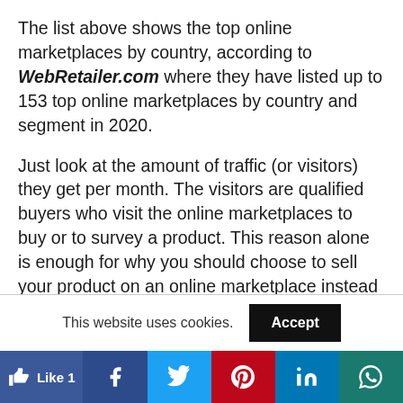The list above shows the top online marketplaces by country, according to WebRetailer.com where they have listed up to 153 top online marketplaces by country and segment in 2020.
Just look at the amount of traffic (or visitors) they get per month. The visitors are qualified buyers who visit the online marketplaces to buy or to survey a product. This reason alone is enough for why you should choose to sell your product on an online marketplace instead of setting up your own
This website uses cookies. Accept
Like 1 [Facebook] [Twitter] [Pinterest] [LinkedIn] [WhatsApp]